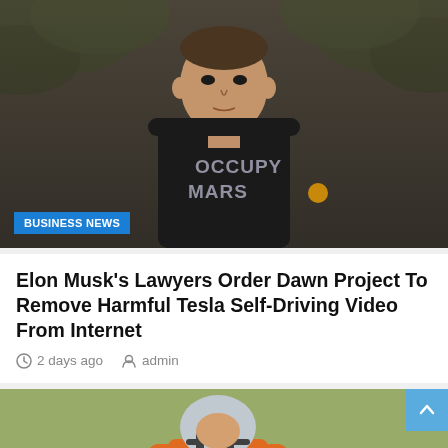[Figure (photo): Elon Musk wearing a black 'Occupy Mars' t-shirt, standing outdoors with palm trees in background]
BUSINESS NEWS
Elon Musk's Lawyers Order Dawn Project To Remove Harmful Tesla Self-Driving Video From Internet
2 days ago  admin
[Figure (photo): Football player wearing orange jersey and helmet, partially visible at bottom of page]